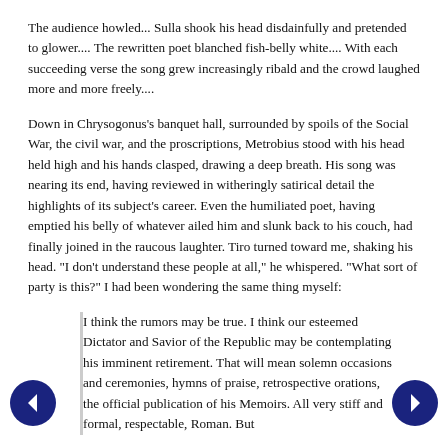The audience howled... Sulla shook his head disdainfully and pretended to glower.... The rewritten poet blanched fish-belly white.... With each succeeding verse the song grew increasingly ribald and the crowd laughed more and more freely....
Down in Chrysogonus’s banquet hall, surrounded by spoils of the Social War, the civil war, and the proscriptions, Metrobius stood with his head held high and his hands clasped, drawing a deep breath. His song was nearing its end, having reviewed in witheringly satirical detail the highlights of its subject’s career. Even the humiliated poet, having emptied his belly of whatever ailed him and slunk back to his couch, had finally joined in the raucous laughter. Tiro turned toward me, shaking his head. “I don’t understand these people at all,” he whispered. “What sort of party is this?” I had been wondering the same thing myself:
I think the rumors may be true. I think our esteemed Dictator and Savior of the Republic may be contemplating his imminent retirement. That will mean solemn occasions and ceremonies, hymns of praise, retrospective orations, the official publication of his Memoirs. All very stiff and formal, respectable, Roman. But